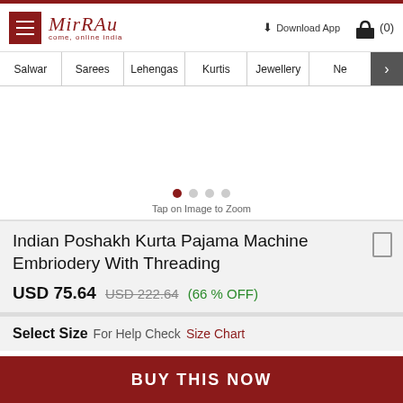[Figure (screenshot): Mirraw e-commerce website header with logo, hamburger menu, Download App link, and cart icon]
Salwar | Sarees | Lehengas | Kurtis | Jewellery | Ne >
[Figure (photo): Product image area (white/blank) with carousel dots and Tap on Image to Zoom text]
Indian Poshakh Kurta Pajama Machine Embriodery With Threading
USD 75.64  USD 222.64  (66 % OFF)
Select Size  For Help Check Size Chart
BUY THIS NOW